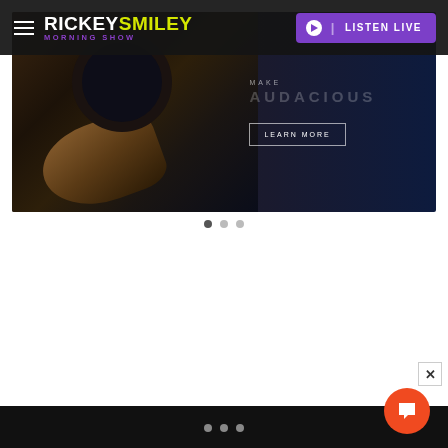RICKEYSMILEY MORNING SHOW — LISTEN LIVE
[Figure (photo): Hero banner showing a person's arm on a dark steering wheel inside a luxury car interior. Right side shows text overlay: 'MAKE AUDACIOUS' with a 'LEARN MORE' button on a dark navy background.]
[Figure (other): Carousel navigation dots — three circular dots indicating slideshow position, middle dot darker (active).]
[Figure (other): Orange circular chat/support button with speech bubble icon in bottom right, with an X close button nearby. Bottom black bar with three white dots.]